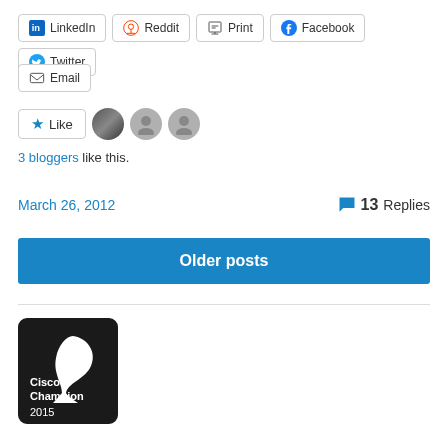[Figure (other): Social share buttons row: LinkedIn, Reddit, Print, Facebook, Twitter]
[Figure (other): Email share button]
[Figure (other): Like button with 3 blogger avatars]
3 bloggers like this.
March 26, 2012    13 Replies
[Figure (other): Older posts blue button/link]
[Figure (logo): Cisco Champion 2015 badge — black square with white swan silhouette and text]